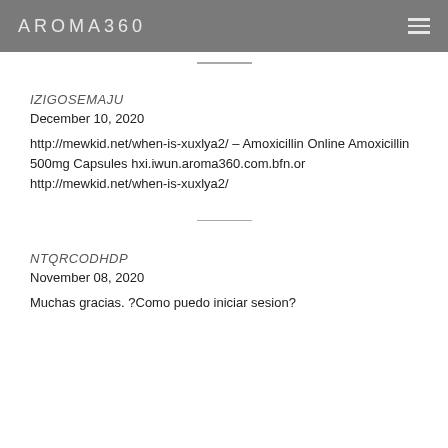AROMA360
IZIGOSEMAJU
December 10, 2020
http://mewkid.net/when-is-xuxlya2/ – Amoxicillin Online Amoxicillin 500mg Capsules hxi.iwun.aroma360.com.bfn.or http://mewkid.net/when-is-xuxlya2/
NTQRCODHDP
November 08, 2020
Muchas gracias. ?Como puedo iniciar sesion?